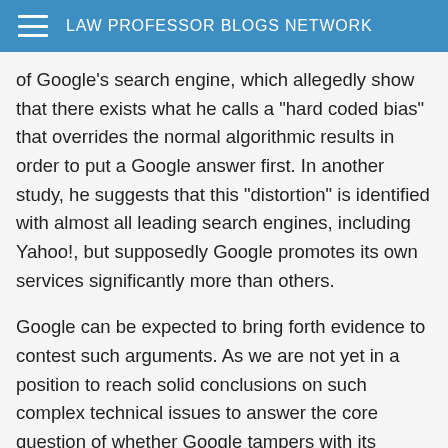LAW PROFESSOR BLOGS NETWORK
of Google's search engine, which allegedly show that there exists what he calls a "hard coded bias" that overrides the normal algorithmic results in order to put a Google answer first. In another study, he suggests that this "distortion" is identified with almost all leading search engines, including Yahoo!, but supposedly Google promotes its own services significantly more than others.
Google can be expected to bring forth evidence to contest such arguments. As we are not yet in a position to reach solid conclusions on such complex technical issues to answer the core question of whether Google tampers with its search results or not, it is safer to look at the available facts and pose some other questions also relevant to the competition analysis.